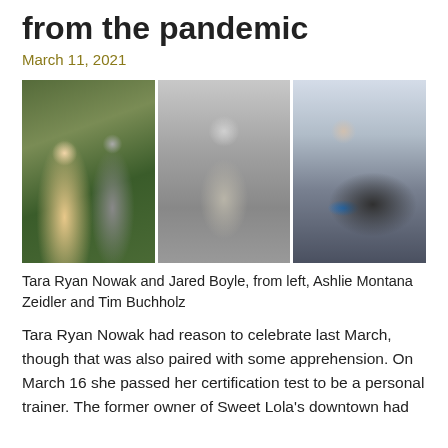from the pandemic
March 11, 2021
[Figure (photo): Three side-by-side photos: left shows two fitness trainers (a woman in red top and a man in dark shirt) standing in a gym; center is a black-and-white photo of a woman sitting in a meditative yoga pose outdoors; right shows a person in blue jacket and helmet riding a fat-tire bicycle in a snowy winter setting.]
Tara Ryan Nowak and Jared Boyle, from left, Ashlie Montana Zeidler and Tim Buchholz
Tara Ryan Nowak had reason to celebrate last March, though that was also paired with some apprehension. On March 16 she passed her certification test to be a personal trainer. The former owner of Sweet Lola's downtown had